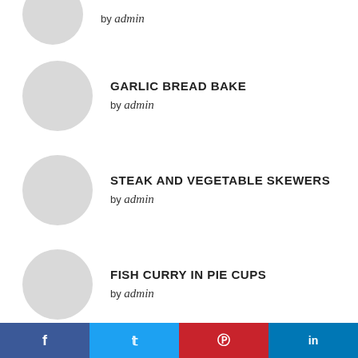[Figure (photo): Partial circular placeholder image at top]
by admin
GARLIC BREAD BAKE
by admin
[Figure (photo): Circular placeholder image for Garlic Bread Bake]
STEAK AND VEGETABLE SKEWERS
by admin
[Figure (photo): Circular placeholder image for Steak and Vegetable Skewers]
FISH CURRY IN PIE CUPS
by admin
[Figure (photo): Circular placeholder image for Fish Curry in Pie Cups]